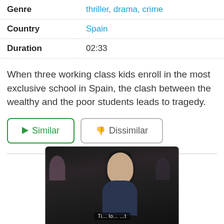| Field | Value |
| --- | --- |
| Genre | thriller, drama, crime |
| Country | Spain |
| Duration | 02:33 |
When three working class kids enroll in the most exclusive school in Spain, the clash between the wealthy and the poor students leads to tragedy.
[Figure (screenshot): Two buttons: a green-bordered 'Similar' button with a play icon, and a grey-bordered 'Dissimilar' button with a thumbs-down icon]
[Figure (photo): A dark screenshot from a TV show or movie showing a young man's face in the foreground, with blurred figures in the background]